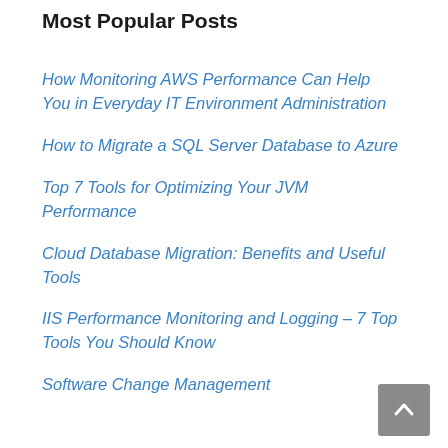Most Popular Posts
How Monitoring AWS Performance Can Help You in Everyday IT Environment Administration
How to Migrate a SQL Server Database to Azure
Top 7 Tools for Optimizing Your JVM Performance
Cloud Database Migration: Benefits and Useful Tools
IIS Performance Monitoring and Logging – 7 Top Tools You Should Know
Software Change Management